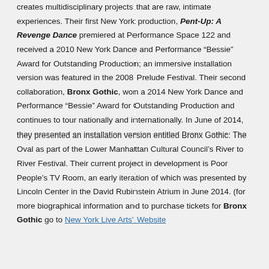creates multidisciplinary projects that are raw, intimate experiences. Their first New York production, Pent-Up: A Revenge Dance premiered at Performance Space 122 and received a 2010 New York Dance and Performance “Bessie” Award for Outstanding Production; an immersive installation version was featured in the 2008 Prelude Festival. Their second collaboration, Bronx Gothic, won a 2014 New York Dance and Performance “Bessie” Award for Outstanding Production and continues to tour nationally and internationally. In June of 2014, they presented an installation version entitled Bronx Gothic: The Oval as part of the Lower Manhattan Cultural Council’s River to River Festival. Their current project in development is Poor People’s TV Room, an early iteration of which was presented by Lincoln Center in the David Rubinstein Atrium in June 2014. (for more biographical information and to purchase tickets for Bronx Gothic go to New York Live Arts' Website